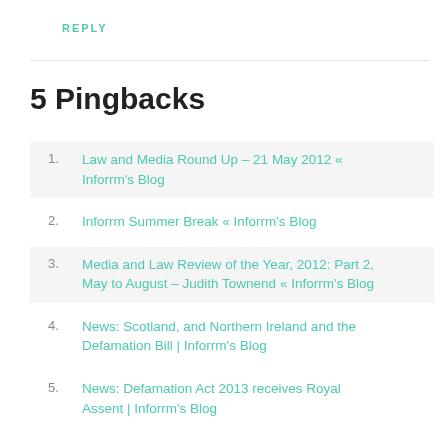REPLY
5 Pingbacks
Law and Media Round Up – 21 May 2012 « Inforrm's Blog
Inforrm Summer Break « Inforrm's Blog
Media and Law Review of the Year, 2012: Part 2, May to August – Judith Townend « Inforrm's Blog
News: Scotland, and Northern Ireland and the Defamation Bill | Inforrm's Blog
News: Defamation Act 2013 receives Royal Assent | Inforrm's Blog